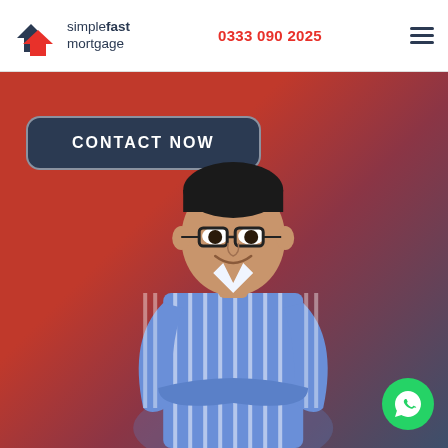[Figure (logo): Simple Fast Mortgage logo with two house icons (dark blue and red) and text 'simplefast mortgage']
0333 090 2025
[Figure (other): Hamburger menu icon (three horizontal lines)]
[Figure (photo): Hero section with red-to-dark-blue gradient background featuring a smiling man in a blue striped shirt with arms crossed, and a 'CONTACT NOW' button]
CONTACT NOW
[Figure (other): WhatsApp button (green circle with phone handset icon)]